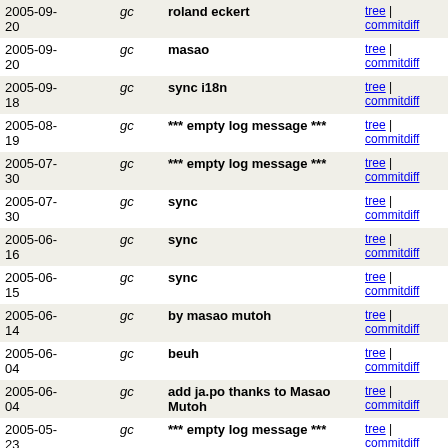| Date |  | Message | Links |
| --- | --- | --- | --- |
| 2005-09-20 | gc | roland eckert | tree | commitdiff |
| 2005-09-20 | gc | masao | tree | commitdiff |
| 2005-09-18 | gc | sync i18n | tree | commitdiff |
| 2005-08-19 | gc | *** empty log message *** | tree | commitdiff |
| 2005-07-30 | gc | *** empty log message *** | tree | commitdiff |
| 2005-07-30 | gc | sync | tree | commitdiff |
| 2005-06-16 | gc | sync | tree | commitdiff |
| 2005-06-15 | gc | sync | tree | commitdiff |
| 2005-06-14 | gc | by masao mutoh | tree | commitdiff |
| 2005-06-04 | gc | beuh | tree | commitdiff |
| 2005-06-04 | gc | add ja.po thanks to Masao Mutoh | tree | commitdiff |
| 2005-05-23 | gc | *** empty log message *** | tree | commitdiff |
| 2005-05-23 | gc | sync | tree | commitdiff |
| 2005-05-... | gc | *** empty log message *** | tree |